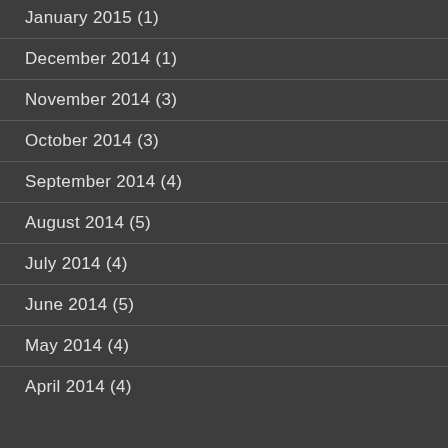January 2015 (1)
December 2014 (1)
November 2014 (3)
October 2014 (3)
September 2014 (4)
August 2014 (5)
July 2014 (4)
June 2014 (5)
May 2014 (4)
April 2014 (4)